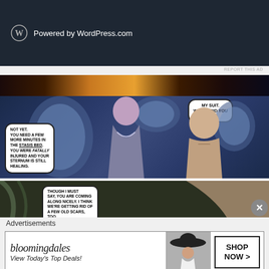[Figure (screenshot): WordPress.com banner advertisement with WordPress logo and text 'Powered by WordPress.com' on dark navy background]
REPORT THIS AD
[Figure (illustration): Comic book page panels showing a sci-fi scene. Top panel: space background. Middle panel: female character in silver armor suit speaking to shirtless male character lying in a stasis bed. Speech bubble top-right: 'MY SUIT. WHERE DID YOU PUT...?' Speech bubble bottom-left: 'NOT YET. YOU NEED A FEW MORE MINUTES IN THE STASIS BED. YOU WERE FATALLY INJURED AND YOUR STERNUM IS STILL HEALING.' Bottom panel: same characters, speech bubble reads 'THOUGH I MUST SAY, YOU ARE COMING ALONG NICELY. I THINK WE'RE GETTING RID OF A FEW OLD SCARS, TOO.']
Advertisements
[Figure (other): Bloomingdales advertisement banner. Logo text 'bloomingdales' in stylized serif font. Tagline 'View Today's Top Deals!' with image of woman in hat. Button on right reads 'SHOP NOW >']